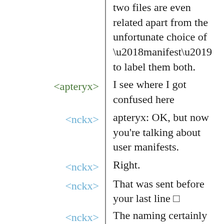two files are even related apart from the unfortunate choice of ‘manifest’ to label them both.
<apteryx> I see where I got confused here
<nckx> apteryx: OK, but now you're talking about user manifests.
<nckx> Right.
<nckx> That was sent before your last line □
<nckx> The naming certainly doesn't help.
<apteryx> nckx: Doesn't 'system'